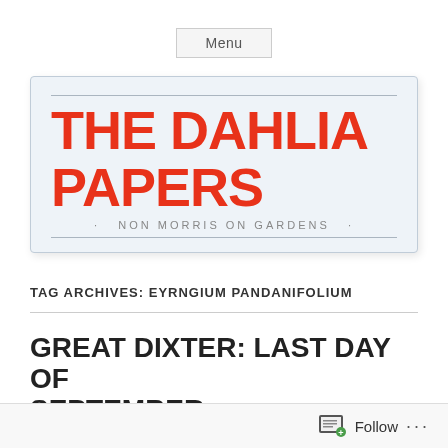Menu
THE DAHLIA PAPERS
· NON MORRIS ON GARDENS ·
TAG ARCHIVES: EYRNGIUM PANDANIFOLIUM
GREAT DIXTER: LAST DAY OF SEPTEMBER
Follow ···